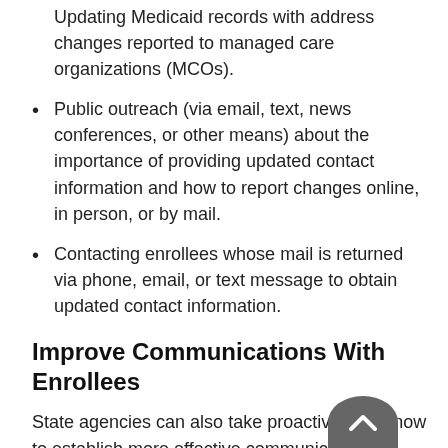Updating Medicaid records with address changes reported to managed care organizations (MCOs).
Public outreach (via email, text, news conferences, or other means) about the importance of providing updated contact information and how to report changes online, in person, or by mail.
Contacting enrollees whose mail is returned via phone, email, or text message to obtain updated contact information.
Improve Communications With Enrollees
State agencies can also take proactive steps now to establish more effective communication channels with enrollees. Rather than just mailing a renewal notice or request for information to a Medicaid enrollee and terminating coverage if they fail to respond, agencies can use different forms of communication to reach enrollees and ensure they understand what steps they must take to